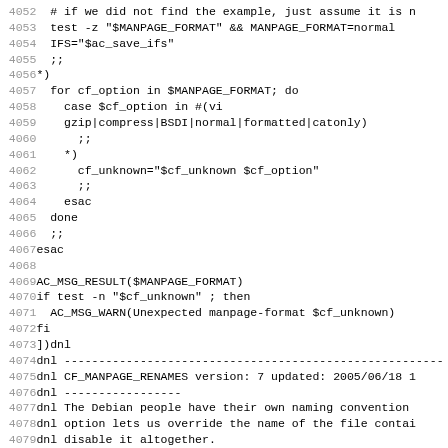Shell script source code lines 4052-4083, showing autoconf macro definitions for manpage format handling.